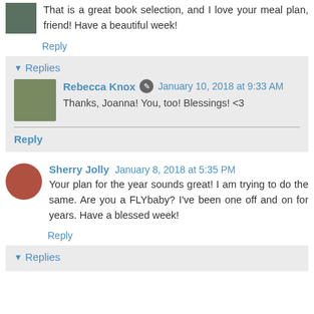That is a great book selection, and I love your meal plan, friend! Have a beautiful week!
Reply
Replies
Rebecca Knox January 10, 2018 at 9:33 AM
Thanks, Joanna! You, too! Blessings! <3
Reply
Sherry Jolly January 8, 2018 at 5:35 PM
Your plan for the year sounds great! I am trying to do the same. Are you a FLYbaby? I've been one off and on for years. Have a blessed week!
Reply
Replies